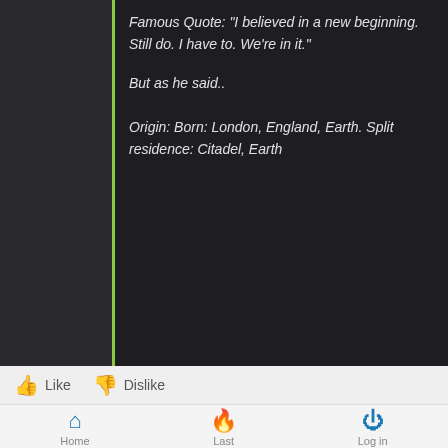Famous Quote: "I believed in a new beginning. Still do. I have to. We're in it."
But as he said..
Origin: Born: London, England, Earth. Split residence: Citadel, Earth
Look at Liam in totality again:
https://www.masseffect.com/news/liam-kosta
Crisis response specialist.  ME3 ended in a crisis for BioWare.  Liam is new staff.
NOW consider his quote about new beginnings and his listing as being an idealist. It's self deprecation.
Home  Last  Log in